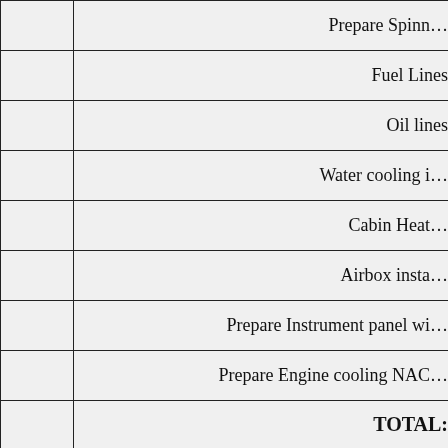|  | Description |
| --- | --- |
|  | Prepare Spinn… |
|  | Fuel Lines |
|  | Oil lines |
|  | Water cooling i… |
|  | Cabin Heat… |
|  | Airbox insta… |
|  | Prepare Instrument panel wi… |
|  | Prepare Engine cooling NAC… |
|  | TOTAL: |